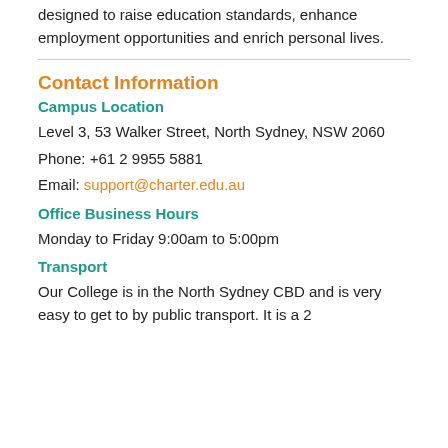designed to raise education standards, enhance employment opportunities and enrich personal lives.
Contact Information
Campus Location
Level 3, 53 Walker Street, North Sydney, NSW 2060
Phone: +61 2 9955 5881
Email: support@charter.edu.au
Office Business Hours
Monday to Friday 9:00am to 5:00pm
Transport
Our College is in the North Sydney CBD and is very easy to get to by public transport. It is a 2